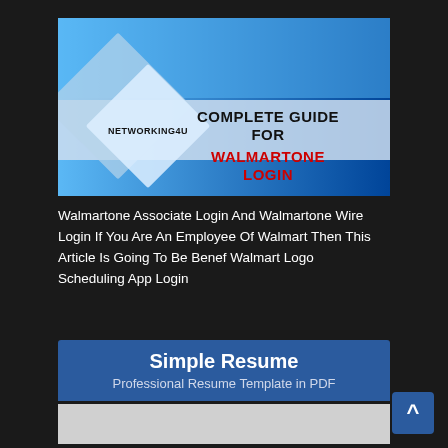[Figure (illustration): Banner image with blue gradient background, diamond/rhombus decorative shapes in light blue on the left, NETWORKING4U logo text, and bold text reading COMPLETE GUIDE FOR WALMARTONE LOGIN (WALMARTONE LOGIN in red)]
Walmartone Associate Login And Walmartone Wire Login If You Are An Employee Of Walmart Then This Article Is Going To Be Benef Walmart Logo Scheduling App Login
[Figure (illustration): Blue banner with white text Simple Resume and subtext Professional Resume Template in PDF, followed by a grey section below]
[Figure (illustration): Blue scroll-to-top button with upward arrow in bottom right corner]